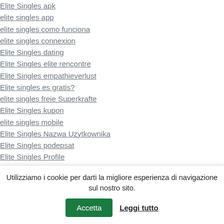Elite Singles apk
elite singles app
elite singles como funciona
elite singles connexion
Elite Singles dating
Elite Singles elite rencontre
Elite Singles empathieverlust
Elite singles es gratis?
elite singles freie Superkrafte
Elite Singles kupon
elite singles mobile
Elite Singles Nazwa Uzytkownika
Elite Singles podepsat
Elite Singles Profile
elite singles recensione
Utilizziamo i cookie per darti la migliore esperienza di navigazione sul nostro sito.
Accetta
Leggi tutto